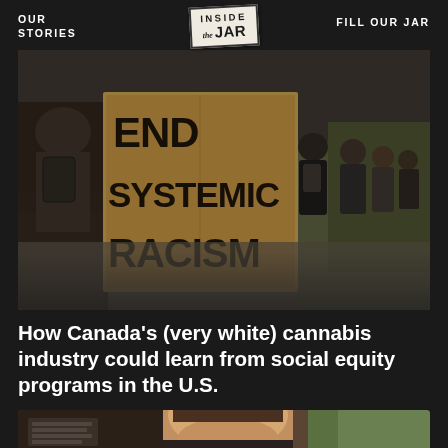OUR STORIES
[Figure (logo): Inside The Jar logo — stamp-style logo on light background]
FILL OUR JAR
[Figure (photo): Protest photo showing people marching with a cardboard sign reading 'END SYSTEMIC RACISM']
How Canada’s (very white) cannabis industry could learn from social equity programs in the U.S.
[Figure (photo): Portrait photo of a smiling bearded man in a dark blazer, with a blurred indoor/outdoor background]